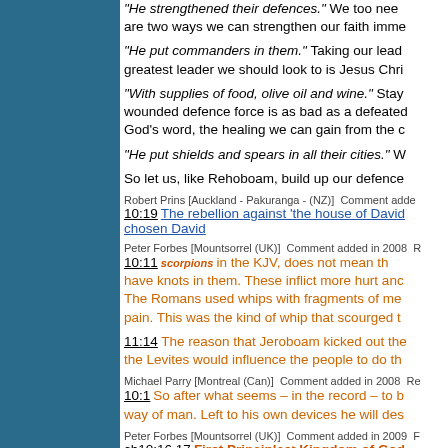"He strengthened their defences." We too nee... are two ways we can strengthen our faith imme...
"He put commanders in them." Taking our lead... greatest leader we should look to is Jesus Chri...
"With supplies of food, olive oil and wine." Stay... wounded defence force is as bad as a defeated... God's word, the healing we can gain from the c...
"He put shields and spears in all their cities." W...
So let us, like Rehoboam, build up our defence...
Robert Prins [Auckland - Pakuranga - (NZ)]  Comment added...
10:19 The rebellion against 'the house of David... chosen David
Peter Forbes [Mountsorrel (UK)]  Comment added in 2008  R...
10:11 scorpions in the KJV, does not mean th... have knots in them. These inflict more hurt anc... The Romans used whips with fragments of me... pain. This was the kind of whip that scourged t...
11:14 The reason that Jeroboam kicked out the... the Levites would influence the people to do th...
Michael Parry [Montreal (Can)]  Comment added in 2008  Re...
10:1 So after what seems – in the record – to b... way of man. Left to his own devices he will des...
Peter Forbes [Mountsorrel (UK)]  Comment added in 2009  F...
ch10:16,17 First Principles>Kingdom of God... 3. During the reign of Rehoboam, the kingdo...